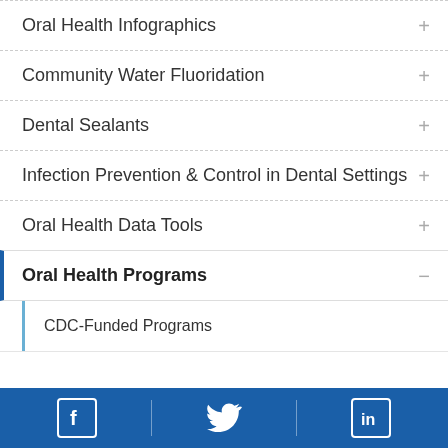Oral Health Infographics
Community Water Fluoridation
Dental Sealants
Infection Prevention & Control in Dental Settings
Oral Health Data Tools
Oral Health Programs
CDC-Funded Programs
[Figure (infographic): Social media footer bar with Facebook, Twitter, and LinkedIn icons on a blue background]